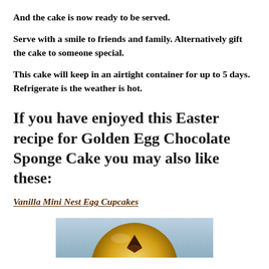And the cake is now ready to be served.
Serve with a smile to friends and family. Alternatively gift the cake to someone special.
This cake will keep in an airtight container for up to 5 days. Refrigerate is the weather is hot.
If you have enjoyed this Easter recipe for Golden Egg Chocolate Sponge Cake you may also like these:
Vanilla Mini Nest Egg Cupcakes
[Figure (photo): A golden circular cake or cupcake with chocolate decorations on top, partially visible at the bottom of the page.]